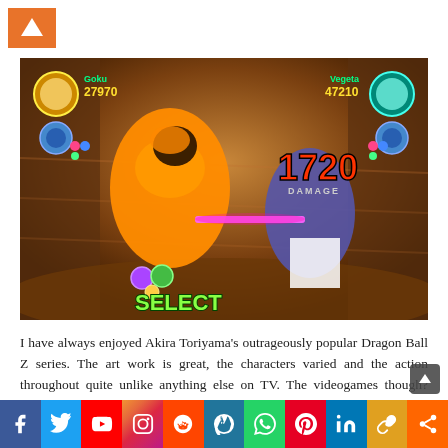[Figure (screenshot): Dragon Ball Z video game screenshot showing two fighters mid-battle in a desert/canyon environment. The HUD shows Goku with 27970 HP and Vegeta with 47210 HP. A damage number of 1720 is displayed on the right. 'SELECT' text appears at the bottom left. Power-up orbs/balls are visible at bottom left of the HUD.]
I have always enjoyed Akira Toriyama's outrageously popular Dragon Ball Z series. The art work is great, the characters varied and the action throughout quite unlike anything else on TV. The videogames though? Well, they've always come up a little short, haven't they. While rarely anything less than competent, whe…